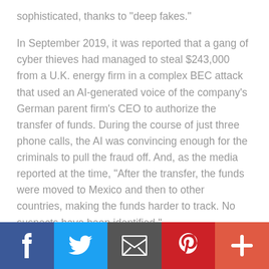sophisticated, thanks to "deep fakes."
In September 2019, it was reported that a gang of cyber thieves had managed to steal $243,000 from a U.K. energy firm in a complex BEC attack that used an AI-generated voice of the company's German parent firm's CEO to authorize the transfer of funds. During the course of just three phone calls, the AI was convincing enough for the criminals to pull the fraud off. And, as the media reported at the time, "After the transfer, the funds were moved to Mexico and then to other countries, making the funds harder to track. No suspects have been identified."
How would your company deal with such an incident?
[Figure (infographic): Social sharing bar with five buttons: Facebook (dark blue), Twitter (light blue), Email (dark gray), Pinterest (dark red), More/Plus (orange-red)]